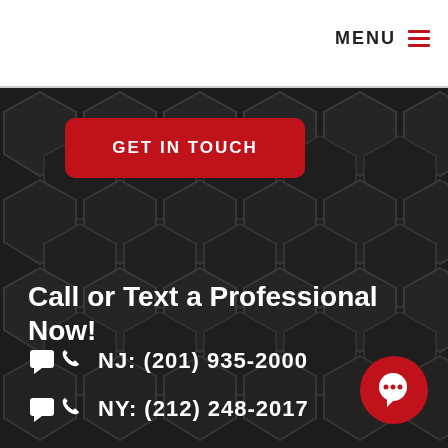MENU
[Figure (screenshot): Dark hexagonal honeycomb patterned background covering the lower portion of the page]
GET IN TOUCH
Call or Text a Professional Now!
NJ: (201) 935-2000
NY: (212) 248-2017
[Figure (illustration): Red circular chat bubble button in bottom right corner]